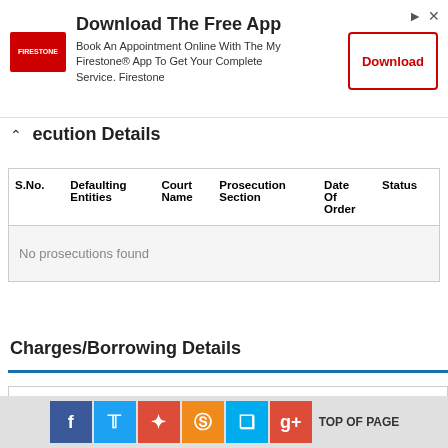[Figure (other): Firestone advertisement banner: Download The Free App, Book An Appointment Online With The My Firestone® App To Get Your Complete Service. Firestone, with a Download button]
ecution Details
| S.No. | Defaulting Entities | Court Name | Prosecution Section | Date Of Order | Status |
| --- | --- | --- | --- | --- | --- |
| No prosecutions found |  |  |  |  |  |
Charges/Borrowing Details
| Charge ID | Creation Date | Modification Date | Closure Date | Assets Under | Amount |
| --- | --- | --- | --- | --- | --- |
[Figure (other): Social media sharing bar with Facebook, Twitter, Google+, StumbleUpon, Digg, Google+ icons and TOP OF PAGE text]